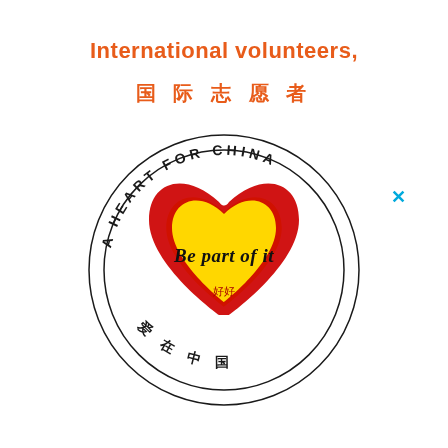International volunteers,
国际志愿者
[Figure (logo): Circular stamp logo with outer ring text 'A HEART FOR CHINA' on top and Chinese characters '爱 在 中 国' on bottom. Inside is a red and yellow heart shape with the script text 'Be part of it' written across it.]